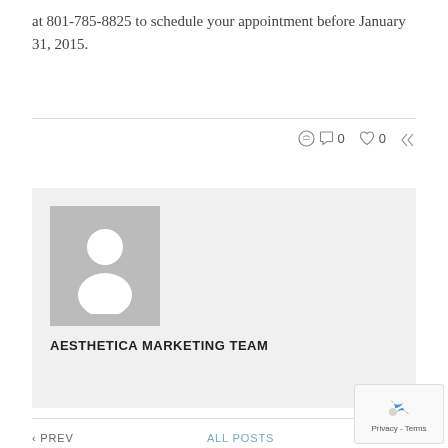at 801-785-8825 to schedule your appointment before January 31, 2015.
[Figure (illustration): Author avatar placeholder image: gray square with white silhouette of a person]
AESTHETICA MARKETING TEAM
< PREV    ALL POSTS    N...